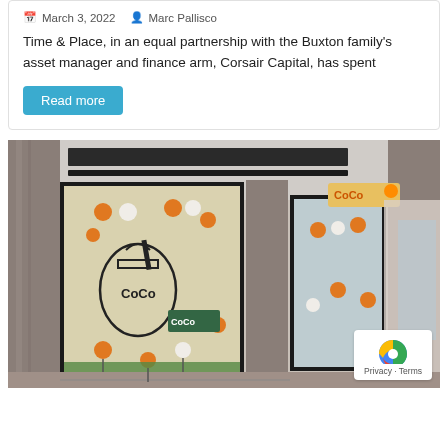March 3, 2022   Marc Pallisco
Time & Place, in an equal partnership with the Buxton family's asset manager and finance arm, Corsair Capital, has spent
Read more
[Figure (photo): Street-level photo of a CoCo bubble tea shop storefront with marble-effect columns, large glass windows decorated with orange and white balloon-like spheres, and a CoCo sign. An arcade walkway extends to the right.]